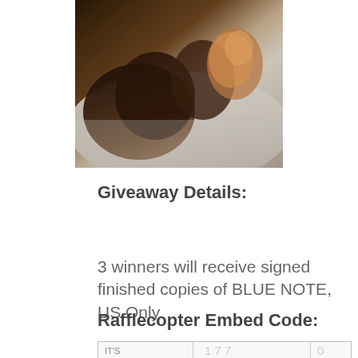[Figure (photo): Photo of a dog (dachshund) being held, with dark fur, resting against a white or light-colored blanket/fabric, partially cropped at top]
Giveaway Details:
3 winners will receive signed finished copies of BLUE NOTE, US Only.
Rafflecopter Embed Code:
[Figure (screenshot): Partial view of a Rafflecopter embed widget showing IT'S and numbers 177 and partial digit, cut off at bottom of page]